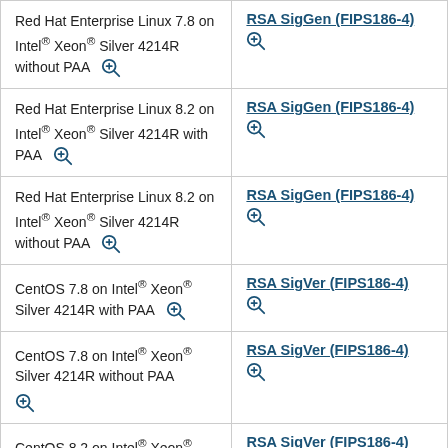| Platform | Algorithm |
| --- | --- |
| Red Hat Enterprise Linux 7.8 on Intel® Xeon® Silver 4214R without PAA [magnify] | RSA SigGen (FIPS186-4) [magnify] |
| Red Hat Enterprise Linux 8.2 on Intel® Xeon® Silver 4214R with PAA [magnify] | RSA SigGen (FIPS186-4) [magnify] |
| Red Hat Enterprise Linux 8.2 on Intel® Xeon® Silver 4214R without PAA [magnify] | RSA SigGen (FIPS186-4) [magnify] |
| CentOS 7.8 on Intel® Xeon® Silver 4214R with PAA [magnify] | RSA SigVer (FIPS186-4) [magnify] |
| CentOS 7.8 on Intel® Xeon® Silver 4214R without PAA [magnify] | RSA SigVer (FIPS186-4) [magnify] |
| CentOS 8.2 on Intel® Xeon® [...] | RSA SigVer (FIPS186-4) |